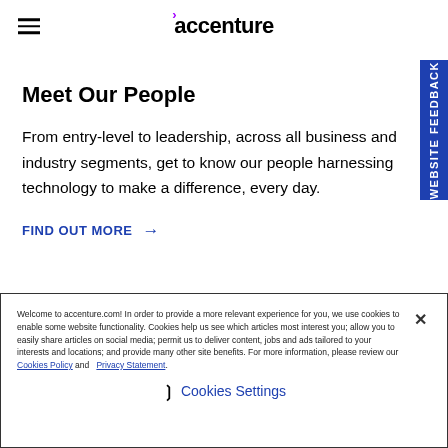accenture
Meet Our People
From entry-level to leadership, across all business and industry segments, get to know our people harnessing technology to make a difference, every day.
FIND OUT MORE →
Welcome to accenture.com! In order to provide a more relevant experience for you, we use cookies to enable some website functionality. Cookies help us see which articles most interest you; allow you to easily share articles on social media; permit us to deliver content, jobs and ads tailored to your interests and locations; and provide many other site benefits. For more information, please review our Cookies Policy and Privacy Statement.
❯  Cookies Settings